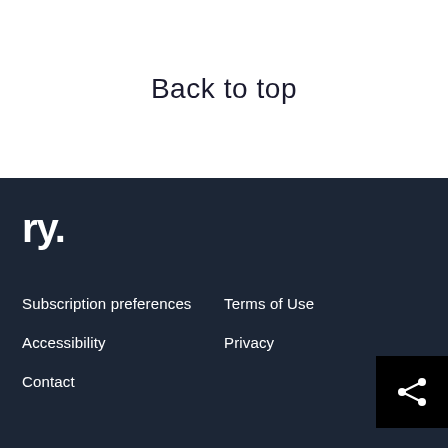Back to top
[Figure (logo): ry. logo in white text on dark background]
Subscription preferences
Terms of Use
Accessibility
Privacy
Contact
[Figure (illustration): Share icon button - black square with white share/network icon]